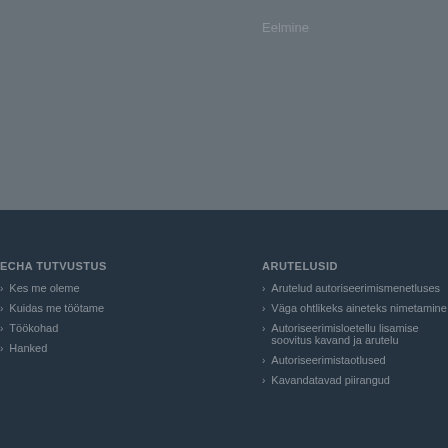Eelmine
ECHA TUTVUSTUS
Kes me oleme
Kuidas me töötame
Töökohad
Hanked
ARUTELUSID
Arutelud autoriseerimismenetluses
Väga ohtlikeks aineteks nimetamine
Autoriseerimisloetellu lisamise soovitus kavand ja arutelu
Autoriseerimistaotlused
Kavandatavad piirangud